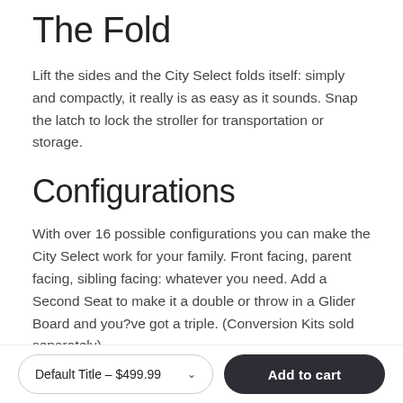The Fold
Lift the sides and the City Select folds itself: simply and compactly, it really is as easy as it sounds. Snap the latch to lock the stroller for transportation or storage.
Configurations
With over 16 possible configurations you can make the City Select work for your family. Front facing, parent facing, sibling facing: whatever you need. Add a Second Seat to make it a double or throw in a Glider Board and you?ve got a triple. (Conversion Kits sold separately)
Seat
Default Title – $499.99
Add to cart